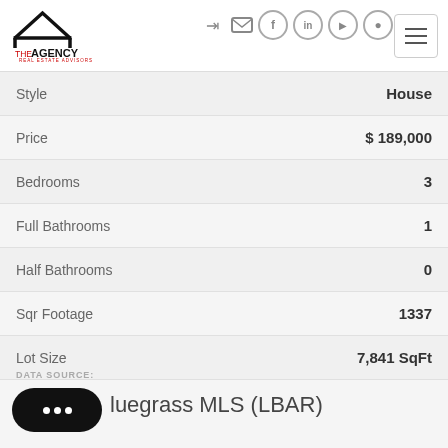The Agency Real Estate Advisors
| Property Feature | Value |
| --- | --- |
| Style | House |
| Price | $189,000 |
| Bedrooms | 3 |
| Full Bathrooms | 1 |
| Half Bathrooms | 0 |
| Sqr Footage | 1337 |
| Lot Size | 7,841 SqFt |
DATA SOURCE:
Bluegrass MLS (LBAR)